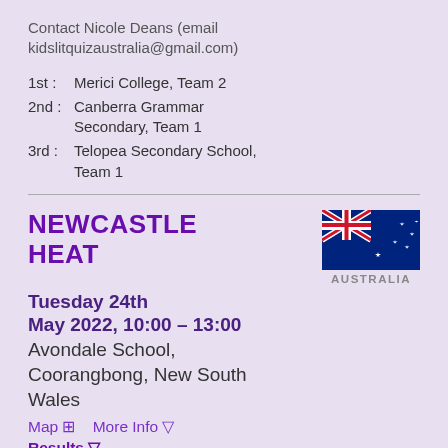Contact Nicole Deans (email kidslitquizaustralia@gmail.com)
1st: Merici College, Team 2
2nd: Canberra Grammar Secondary, Team 1
3rd: Telopea Secondary School, Team 1
NEWCASTLE HEAT
[Figure (illustration): Australian flag with Union Jack and stars on blue background, with AUSTRALIA label below]
Tuesday 24th May 2022, 10:00 – 13:00
Avondale School, Coorangbong, New South Wales
Map ⊡   More Info ▽
Results ▽
Contact Nicole Deans (email